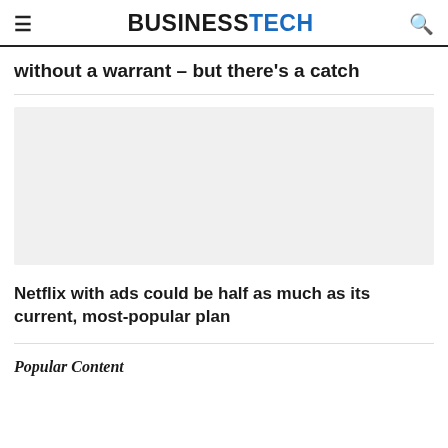BUSINESSTECH
without a warrant – but there's a catch
[Figure (photo): Gray placeholder image for article thumbnail]
Netflix with ads could be half as much as its current, most-popular plan
Popular Content